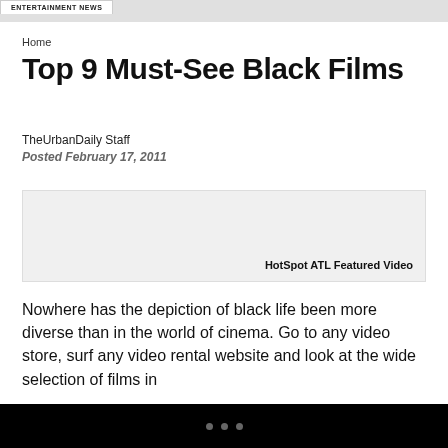ENTERTAINMENT NEWS
Home
Top 9 Must-See Black Films
TheUrbanDaily Staff
Posted February 17, 2011
[Figure (other): HotSpot ATL Featured Video box]
Nowhere has the depiction of black life been more diverse than in the world of cinema. Go to any video store, surf any video rental website and look at the wide selection of films in